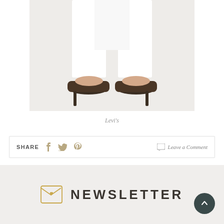[Figure (photo): Lower half of a model wearing white flared jeans and dark brown high-heel mule shoes, against a light gray background]
Levi's
SHARE [facebook] [twitter] [pinterest]  Leave a Comment
NEWSLETTER